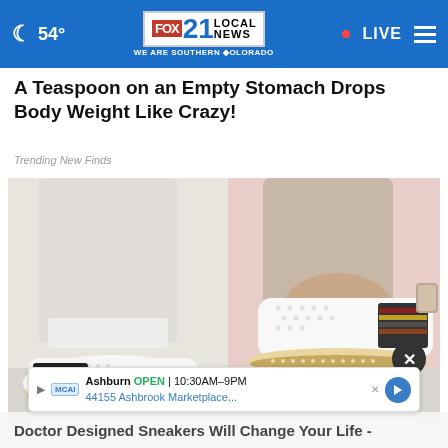54° FOX 21 LOCAL NEWS WE ARE SOUTHERN COLORADO • LIVE
A Teaspoon on an Empty Stomach Drops Body Weight Like Crazy!
Trending New Finds
[Figure (photo): Close-up photo of two white slip-on sneakers with perforated design, brown/tan accents, striped side panel, and metallic heel detail, worn with white rolled-up jeans, against a pink and light background]
Ashburn OPEN | 10:30AM–9PM  44155 Ashbrook Marketplace...
Doctor Designed Sneakers Will Change Your Life -